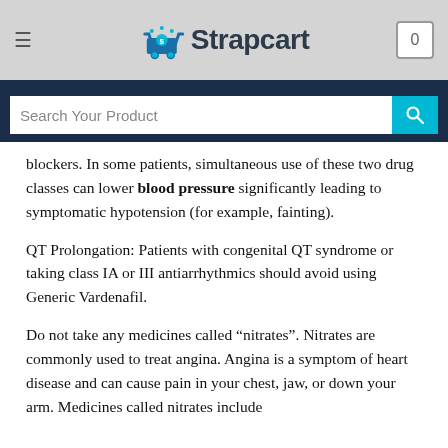Strapcart
blockers. In some patients, simultaneous use of these two drug classes can lower blood pressure significantly leading to symptomatic hypotension (for example, fainting).
QT Prolongation: Patients with congenital QT syndrome or taking class IA or III antiarrhythmics should avoid using Generic Vardenafil.
Do not take any medicines called “nitrates”. Nitrates are commonly used to treat angina. Angina is a symptom of heart disease and can cause pain in your chest, jaw, or down your arm. Medicines called nitrates include